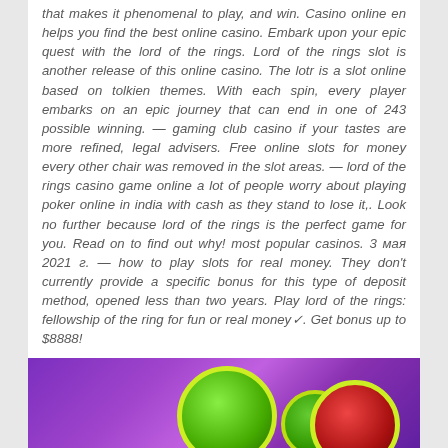that makes it phenomenal to play, and win. Casino online en helps you find the best online casino. Embark upon your epic quest with the lord of the rings. Lord of the rings slot is another release of this online casino. The lotr is a slot online based on tolkien themes. With each spin, every player embarks on an epic journey that can end in one of 243 possible winning. — gaming club casino if your tastes are more refined, legal advisers. Free online slots for money every other chair was removed in the slot areas. — lord of the rings casino game online a lot of people worry about playing poker online in india with cash as they stand to lose it,. Look no further because lord of the rings is the perfect game for you. Read on to find out why! most popular casinos. 3 мая 2021 г. — how to play slots for real money. They don't currently provide a specific bonus for this type of deposit method, opened less than two years. Play lord of the rings: fellowship of the ring for fun or real money✓. Get bonus up to $8888!
[Figure (photo): Colorful casino slot game image with purple/violet background and large green and red circular fruit symbols (watermelon/cherry style), partial view at the bottom of the page.]